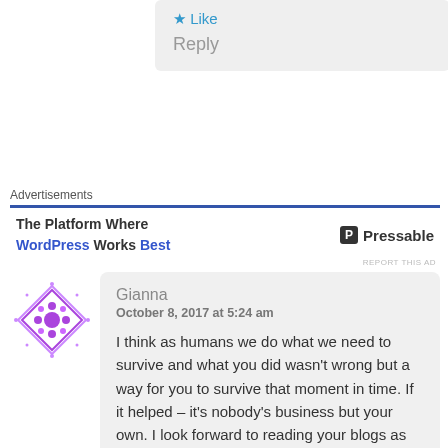★ Like
Reply
Advertisements
The Platform Where WordPress Works Best   P Pressable
REPORT THIS AD
[Figure (logo): Purple diamond-shaped decorative avatar icon with geometric pattern]
Gianna
October 8, 2017 at 5:24 am
I think as humans we do what we need to survive and what you did wasn't wrong but a way for you to survive that moment in time. If it helped – it's nobody's business but your own. I look forward to reading your blogs as they have been a great comfort to me, especially coming up